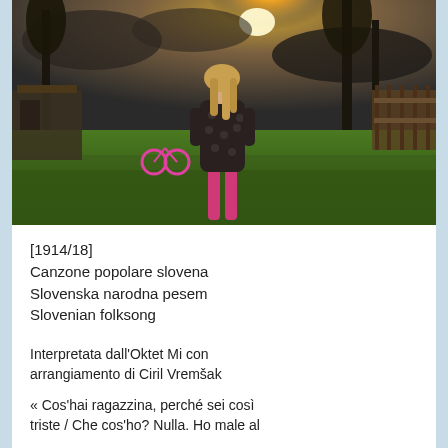[Figure (photo): A young girl with long hair, wearing a dark polka-dot dress and pink leggings, standing with her back to the camera in a garden/yard. The HDR photo shows dramatic sky with sun glowing through trees, green grass, and a wooden fence in the background.]
[1914/18]
Canzone popolare slovena
Slovenska narodna pesem
Slovenian folksong
Interpretata dall'Oktet Mi con arrangiamento di Ciril Vremšak
« Cos'hai ragazzina, perché sei così triste / Che cos'ho? Nulla. Ho male al